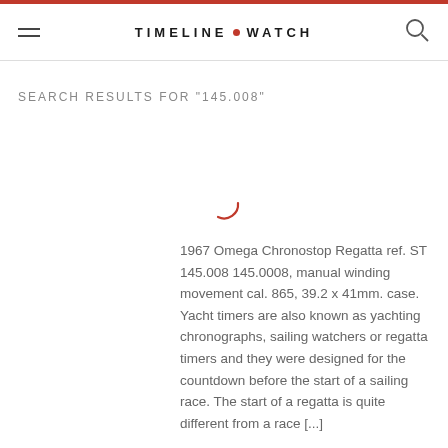TIMELINE • WATCH
SEARCH RESULTS FOR "145.008"
[Figure (other): Loading spinner arc in coral/red color]
1967 Omega Chronostop Regatta ref. ST 145.008 145.0008, manual winding movement cal. 865, 39.2 x 41mm. case. Yacht timers are also known as yachting chronographs, sailing watchers or regatta timers and they were designed for the countdown before the start of a sailing race. The start of a regatta is quite different from a race [...]